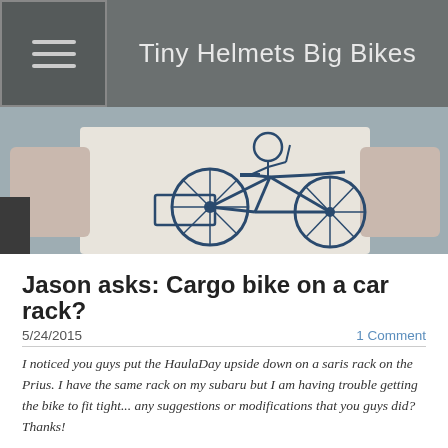Tiny Helmets Big Bikes
[Figure (photo): Hero image showing a person wearing a white t-shirt with a bicycle illustration on it. The bicycle drawing is a cargo bike style with a large wheel.]
Jason asks: Cargo bike on a car rack?
5/24/2015
1 Comment
I noticed you guys put the HaulaDay upside down on a saris rack on the Prius. I have the same rack on my subaru but I am having trouble getting the bike to fit tight... any suggestions or modifications that you guys did? Thanks!
We're lucky that we don't have to drive very often but when we do, we love taking our bikes with us. It's great to be able to extend your biking range or to get your bike to a new location that might be too far to safely/reasonably bike to. It can be tricky to get a cargo bike on the back of a regular-sized car but it's not impossible. Here's what we've done.